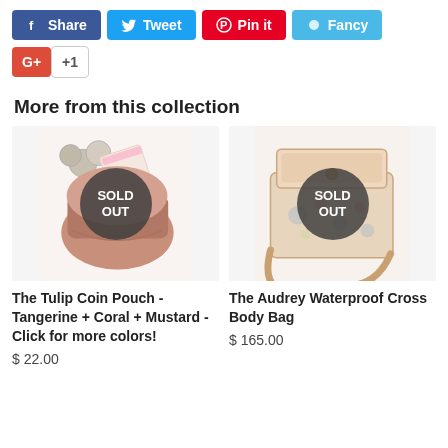[Figure (screenshot): Social sharing buttons row: Facebook Share (blue), Tweet (light blue), Pin it (red), Fancy (teal)]
[Figure (screenshot): Google+ +1 button row]
More from this collection
[Figure (photo): The Tulip Coin Pouch in Tangerine + Coral + Mustard colors, shown with coins spilling out. Marked SOLD OUT.]
[Figure (photo): The Audrey Waterproof Cross Body Bag in floral pattern with tan leather. Marked SOLD OUT.]
The Tulip Coin Pouch - Tangerine + Coral + Mustard - Click for more colors!
$ 22.00
The Audrey Waterproof Cross Body Bag
$ 165.00